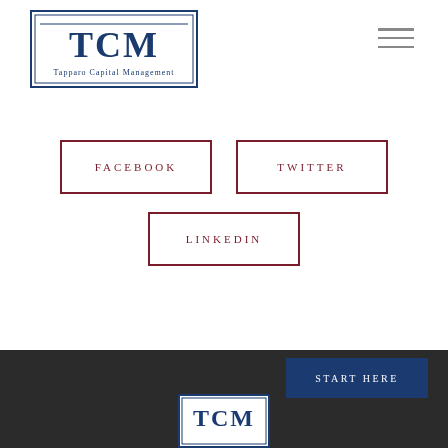[Figure (logo): TCM Tapparo Capital Management logo — blue bordered rectangle with TCM letters and company name below]
[Figure (other): Hamburger menu icon (three horizontal lines)]
FACEBOOK
TWITTER
LINKEDIN
START HERE
[Figure (logo): Partial TCM logo visible at bottom of page]